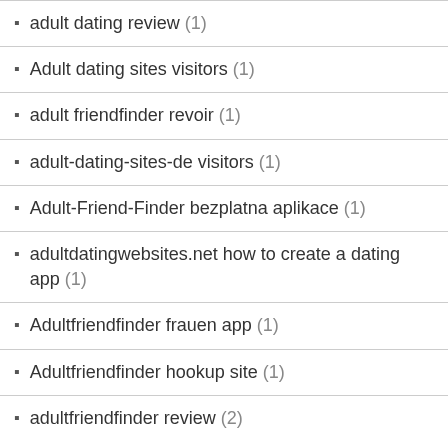adult dating review (1)
Adult dating sites visitors (1)
adult friendfinder revoir (1)
adult-dating-sites-de visitors (1)
Adult-Friend-Finder bezplatna aplikace (1)
adultdatingwebsites.net how to create a dating app (1)
Adultfriendfinder frauen app (1)
Adultfriendfinder hookup site (1)
adultfriendfinder review (2)